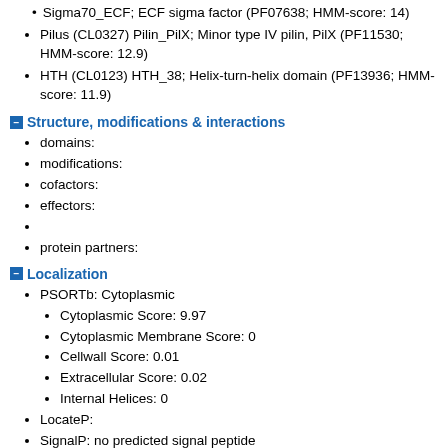Sigma70_ECF; ECF sigma factor (PF07638; HMM-score: 14)
Pilus (CL0327) Pilin_PilX; Minor type IV pilin, PilX (PF11530; HMM-score: 12.9)
HTH (CL0123) HTH_38; Helix-turn-helix domain (PF13936; HMM-score: 11.9)
Structure, modifications & interactions
domains:
modifications:
cofactors:
effectors:
protein partners:
Localization
PSORTb: Cytoplasmic
Cytoplasmic Score: 9.97
Cytoplasmic Membrane Score: 0
Cellwall Score: 0.01
Extracellular Score: 0.02
Internal Helices: 0
LocateP:
SignalP: no predicted signal peptide